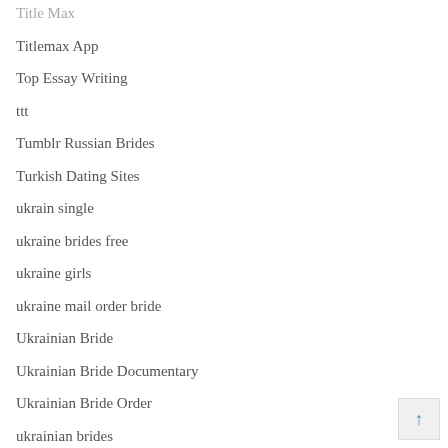Title Max
Titlemax App
Top Essay Writing
ttt
Tumblr Russian Brides
Turkish Dating Sites
ukrain single
ukraine brides free
ukraine girls
ukraine mail order bride
Ukrainian Bride
Ukrainian Bride Documentary
Ukrainian Bride Order
ukrainian brides
Ukrainian Brides Agency